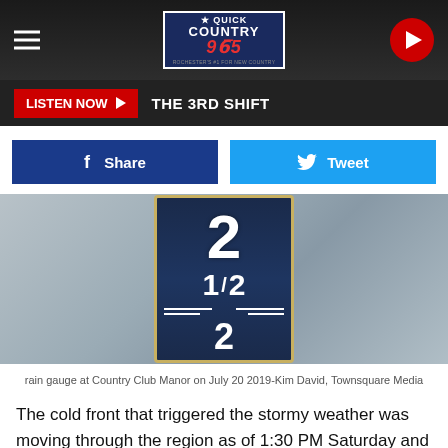[Figure (screenshot): Quick Country 96.5 radio station website header with logo, hamburger menu, and play button]
LISTEN NOW ► THE 3RD SHIFT
[Figure (photo): Rain gauge at Country Club Manor showing approximately 2.5 inches of rain]
rain gauge at Country Club Manor on July 20 2019-Kim David, Townsquare Media
The cold front that triggered the stormy weather was moving through the region as of 1:30 PM Saturday and rain is expected to gradually come to an end. It also brought in